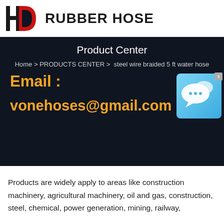HD RUBBER HOSE
Product Center
Home > PRODUCTS CENTER >  steel wire braided 5 ft water hose
Email :
vonehoses@gmail.com
[Figure (illustration): Chat bubble icon on blue gradient background with close button]
Products are widely apply to areas like construction machinery, agricultural machinery, oil and gas, construction, steel, chemical, power generation, mining, railway,